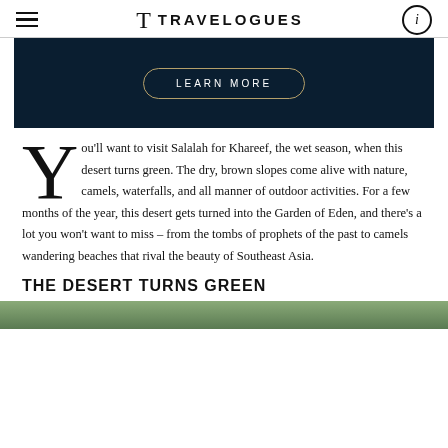Travelogues
[Figure (other): Dark navy banner with a 'LEARN MORE' button styled with a gold rounded border]
You'll want to visit Salalah for Khareef, the wet season, when this desert turns green. The dry, brown slopes come alive with nature, camels, waterfalls, and all manner of outdoor activities. For a few months of the year, this desert gets turned into the Garden of Eden, and there's a lot you won't want to miss – from the tombs of prophets of the past to camels wandering beaches that rival the beauty of Southeast Asia.
THE DESERT TURNS GREEN
[Figure (photo): Partial green landscape photo at the bottom of the page]